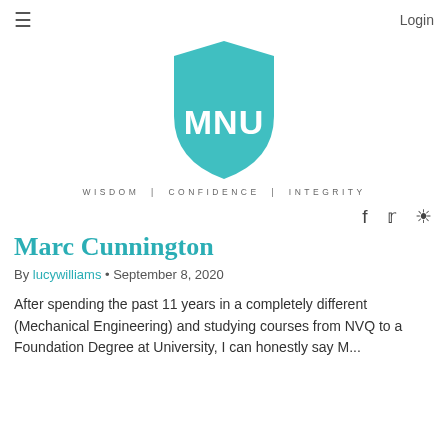≡   Login
[Figure (logo): MNU shield logo in teal with white MNU text]
WISDOM | CONFIDENCE | INTEGRITY
[Figure (other): Social media icons: Facebook, Twitter, Instagram]
Marc Cunnington
By lucywilliams • September 8, 2020
After spending the past 11 years in a completely different (Mechanical Engineering) and studying courses from NVQ to a Foundation Degree at University, I can honestly say M...